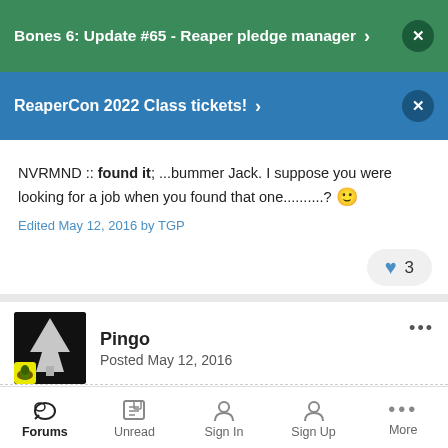Bones 6: Update #65 - Reaper pledge manager
ReaperCon 2022 Class tickets!
NVRMND :: found it; ...bummer Jack. I suppose you were looking for a job when you found that one..........? 🙂
Edited May 12, 2016 by TGP
3
Pingo
Posted May 12, 2016
Forums  Unread  Sign In  Sign Up  More